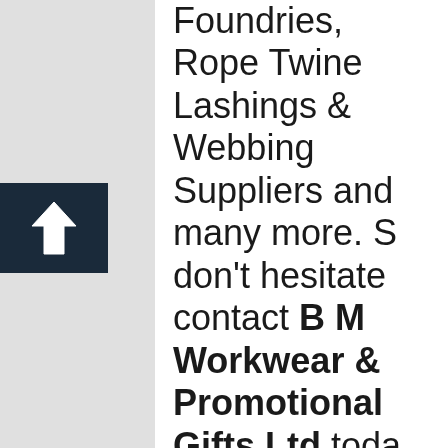Foundries, Rope Twine Lashings & Webbing Suppliers and many more. S don't hesitate contact B M Workwear & Promotional Gifts Ltd toda on 0151-548 2182 no matte what your requirements, within the category Manufacturing (Miscellaneou . Whether you are a private individual or a large busines the size of yo